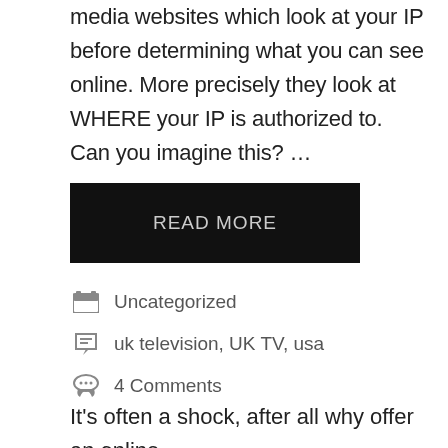media websites which look at your IP before determining what you can see online. More precisely they look at WHERE your IP is authorized to.  Can you imagine this? …
READ MORE
Uncategorized
uk television, UK TV, usa
4 Comments
It's often a shock, after all why offer an online